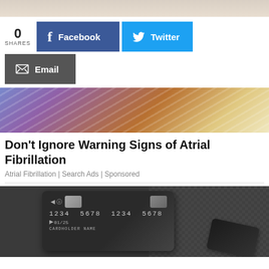[Figure (photo): Top cropped image, partial view of a light background scene]
0 SHARES
[Figure (screenshot): Facebook share button (blue)]
[Figure (screenshot): Twitter share button (light blue)]
[Figure (screenshot): Email share button (dark gray)]
[Figure (photo): Man in blue striped shirt holding his stomach/chest area, leaning against wall]
Don't Ignore Warning Signs of Atrial Fibrillation
Atrial Fibrillation | Search Ads | Sponsored
[Figure (photo): Dark credit card with number 1234 5678 1234 5678, expiry 01/25, cardholder name, on checkered background]